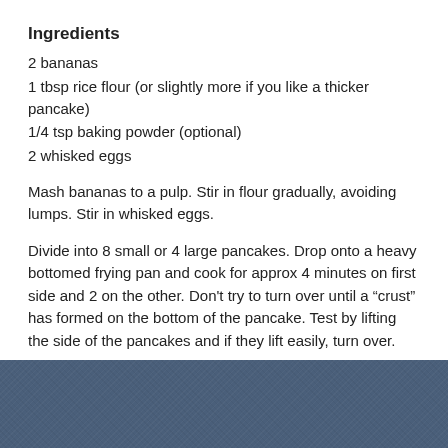Ingredients
2 bananas
1 tbsp rice flour (or slightly more if you like a thicker pancake)
1/4 tsp baking powder (optional)
2 whisked eggs
Mash bananas to a pulp. Stir in flour gradually, avoiding lumps. Stir in whisked eggs.
Divide into 8 small or 4 large pancakes. Drop onto a heavy bottomed frying pan and cook for approx 4 minutes on first side and 2 on the other. Don’t try to turn over until a “crust” has formed on the bottom of the pancake. Test by lifting the side of the pancakes and if they lift easily, turn over.
[Figure (photo): Blue textured surface, likely a dark blue fabric or table background]